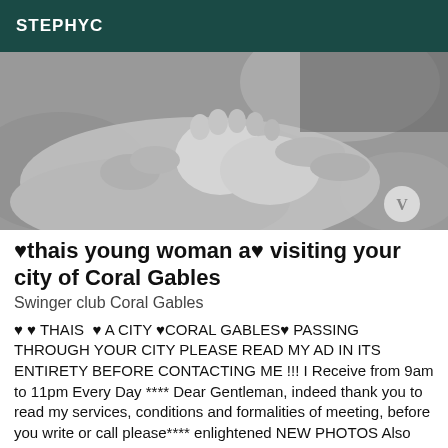STEPHYC
[Figure (photo): Black and white close-up photograph of hands holding baby feet]
♥thais young woman a♥ visiting your city of Coral Gables
Swinger club Coral Gables
♥ ♥ THAIS ♥ A CITY ♥CORAL GABLES♥ PASSING THROUGH YOUR CITY PLEASE READ MY AD IN ITS ENTIRETY BEFORE CONTACTING ME !!! I Receive from 9am to 11pm Every Day **** Dear Gentleman, indeed thank you to read my services, conditions and formalities of meeting, before you write or call please**** enlightened NEW PHOTOS Also visit my 2019 wink photo galleries Hello, I am THAIS, your BRAZILIAN